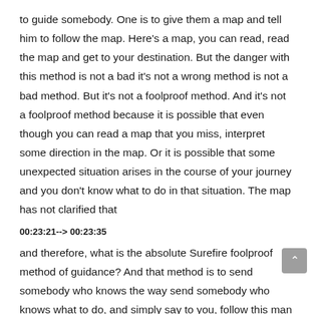to guide somebody. One is to give them a map and tell him to follow the map. Here's a map, you can read, read the map and get to your destination. But the danger with this method is not a bad it's not a wrong method is not a bad method. But it's not a foolproof method. And it's not a foolproof method because it is possible that even though you can read a map that you miss, interpret some direction in the map. Or it is possible that some unexpected situation arises in the course of your journey and you don't know what to do in that situation. The map has not clarified that
00:23:21--> 00:23:35
and therefore, what is the absolute Surefire foolproof method of guidance? And that method is to send somebody who knows the way send somebody who knows what to do, and simply say to you, follow this man